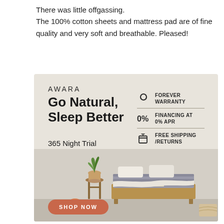There was little offgassing. The 100% cotton sheets and mattress pad are of fine quality and very soft and breathable. Pleased!
[Figure (illustration): Awara mattress advertisement showing a bedroom scene with a mattress on a wooden bed frame, a plant on a wooden stool, and white pillows. Text reads: AWARA, Go Natural, Sleep Better, 365 Night Trial. Features: Forever Warranty, 0% Financing at 0% APR, Free Shipping/Returns. Orange 'SHOP NOW' button at bottom left.]